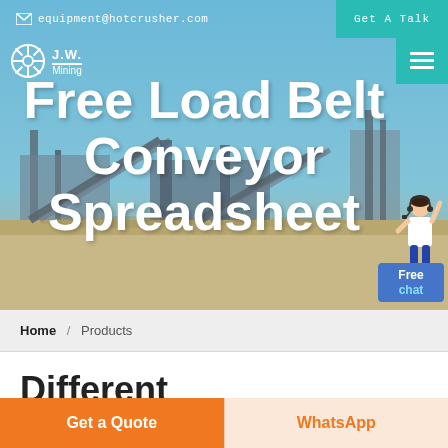equipment@hotcrusher.com | Get A Talk
[Figure (photo): Mining/crushing plant facility aerial photo used as hero background, showing industrial conveyor and processing equipment in a dusty outdoor setting]
Free Load Belt Conveyor Spreadsheet
[Figure (photo): Customer service chat agent avatar - woman in white shirt with headset pointing upward, with 'Free chat' blue button below]
Home / Products
Different Machines To Meet All
Get a Quote
WhatsApp